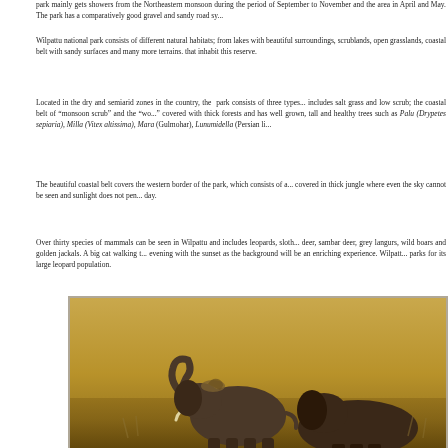park mainly gets showers from the Northeastern monsoon during the period of September to November and the area in April and May. The park has a comparatively good gravel and sandy road sy...
Wilpattu national park consists of different natural habitats; from lakes with beautiful surroundings, scrublands, open grasslands, coastal belt with sandy surfaces and many more terrains. that inhabit this reserve.
Located in the dry and semiarid zones in the country, the park consists of three types... includes salt grass and low scrub; the coastal belt of "monsoon scrub" and the "wo..." covered with thick forests and has well grown, tall and healthy trees such as Palu (Drypetes sepiaria), Milla (Vitex altissima), Mara (Gulmohar), Lunumidella (Persian li...
The beautiful coastal belt covers the western border of the park, which consists of a... covered in thick jungle where even the sky cannot be seen and sunlight does not pen... day.
Over thirty species of mammals can be seen in Wilpattu and includes leopards, sloth... deer, sambar deer, grey langurs, wild boars and golden jackals. A big cat walking t... evening with the sunset as the background will be an enriching experience. Wilpatt... parks for its large leopard population.
[Figure (photo): Photograph of elephants in a golden/amber savanna landscape, partially cropped at bottom of page]